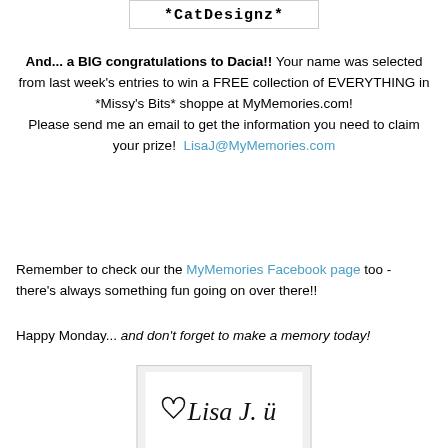[Figure (logo): CatDesignz logo text in decorative monospace font inside a bordered box]
And... a BIG congratulations to Dacia!! Your name was selected from last week's entries to win a FREE collection of EVERYTHING in *Missy's Bits* shoppe at MyMemories.com! Please send me an email to get the information you need to claim your prize! LisaJ@MyMemories.com
Remember to check our the MyMemories Facebook page too - there's always something fun going on over there!!
Happy Monday... and don't forget to make a memory today!
[Figure (photo): Handwritten signature reading 'Lisa J. ü' with a small heart, on a light gray background inside a bordered box]